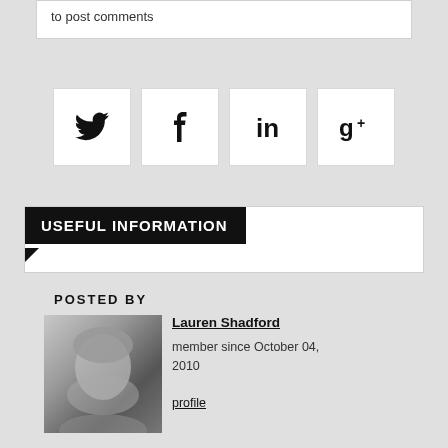to post comments
[Figure (infographic): Four social media share buttons: Twitter (bird icon), Facebook (f icon), LinkedIn (in icon), Google+ (g+ icon)]
USEFUL INFORMATION
POSTED BY
[Figure (photo): Black and white headshot photo of Lauren Shadford, a woman with light hair and earrings, smiling]
Lauren Shadford
member since October 04, 2010

profile